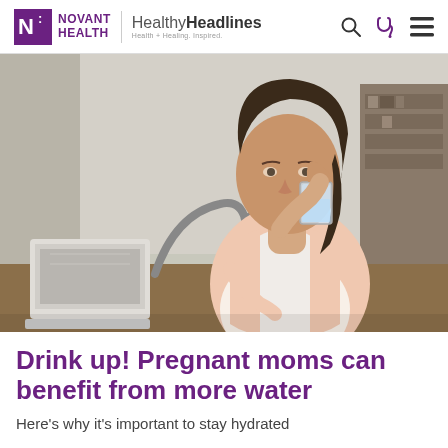Novant Health | Healthy Headlines — Health + Healing. Inspired.
[Figure (photo): Pregnant woman sitting at a desk with a laptop, drinking a glass of water. She is wearing a white shirt and light pink cardigan. Background shows a home office setting.]
Drink up! Pregnant moms can benefit from more water
Here's why it's important to stay hydrated